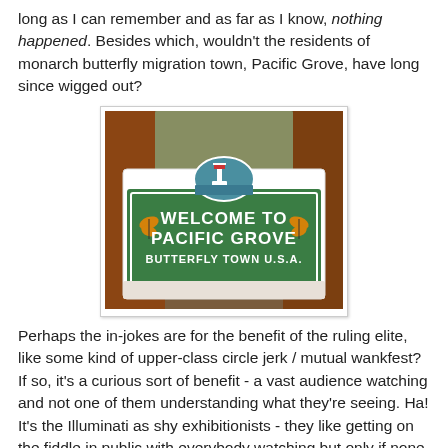long as I can remember and as far as I know, nothing happened. Besides which, wouldn't the residents of monarch butterfly migration town, Pacific Grove, have long since wigged out?
[Figure (photo): Photo of a green wooden welcome sign reading 'WELCOME TO PACIFIC GROVE BUTTERFLY TOWN U.S.A.' with monarch butterfly decorations and an oval emblem at the top featuring a lighthouse, set against a backdrop of trees.]
Perhaps the in-jokes are for the benefit of the ruling elite, like some kind of upper-class circle jerk / mutual wankfest? If so, it's a curious sort of benefit - a vast audience watching and not one of them understanding what they're seeing. Ha! It's the Illuminati as shy exhibitionists - they like getting on the fiddle in public with everybody watching but only if none of them can actually tell what's going on.
Aside from that, do the crowned heads of Europe watch all